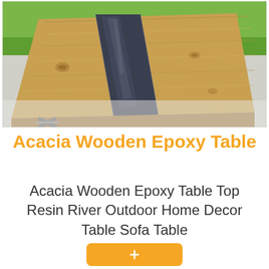[Figure (photo): A wooden epoxy resin river table viewed from an angle, showing natural acacia wood with a dark blue/grey resin river running through the center, placed on a metallic X-shaped frame, photographed outdoors on grass.]
Acacia Wooden Epoxy Table
Acacia Wooden Epoxy Table Top Resin River Outdoor Home Decor Table Sofa Table
[Figure (other): Partially visible orange/amber colored button at the bottom of the page, likely an 'Add to cart' button.]